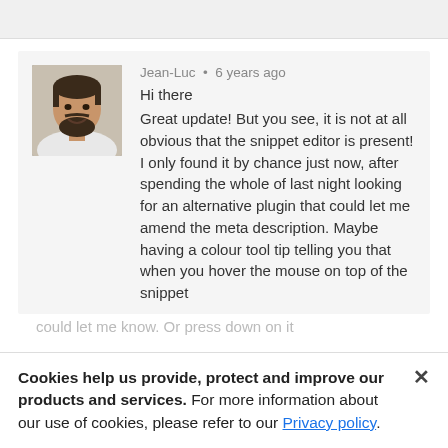[Figure (photo): Profile photo of Jean-Luc, a man with dark hair and beard wearing a white shirt]
Jean-Luc • 6 years ago
Hi there
Great update! But you see, it is not at all obvious that the snippet editor is present! I only found it by chance just now, after spending the whole of last night looking for an alternative plugin that could let me amend the meta description. Maybe having a colour tool tip telling you that when you hover the mouse on top of the snippet
Cookies help us provide, protect and improve our products and services. For more information about our use of cookies, please refer to our Privacy policy.